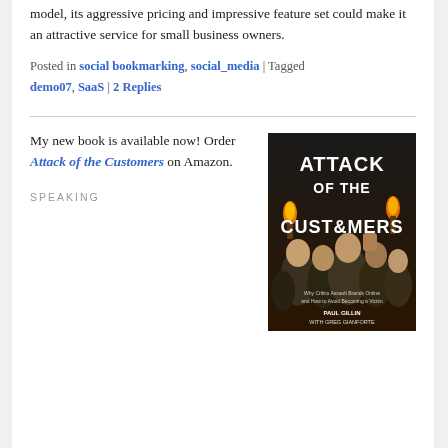model, its aggressive pricing and impressive feature set could make it an attractive service for small business owners.
Posted in social bookmarking, social_media | Tagged demo07, SaaS | 2 Replies
My new book is available now! Order Attack of the Customers on Amazon.
[Figure (photo): Book cover for 'Attack of the Customers' by Paul Gillin with Greg Gianforte, showing an angry crowd with torches and raised fists]
SPEAKING